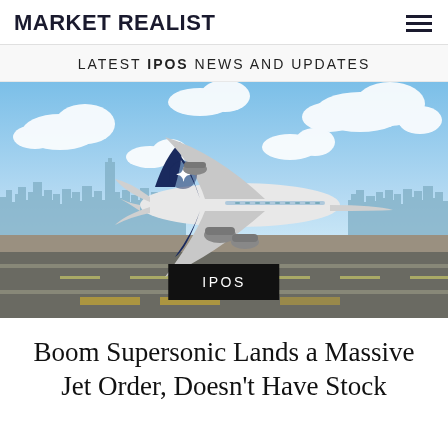MARKET REALIST
LATEST IPOS NEWS AND UPDATES
[Figure (photo): A white supersonic passenger jet with a dark blue tail design taking off from a runway with a cityscape skyline visible in the background under a partly cloudy sky.]
IPOS
Boom Supersonic Lands a Massive Jet Order, Doesn't Have Stock